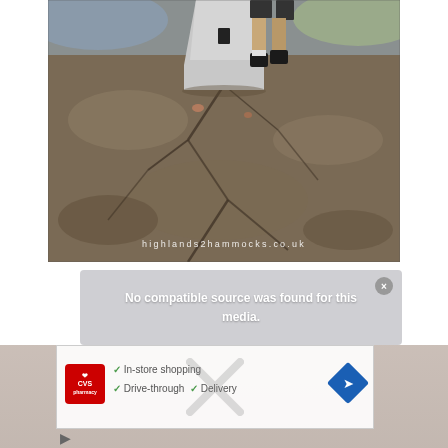[Figure (photo): Outdoor photograph showing rocky granite summit with a white triangular trig point pillar in the center. A person's legs wearing dark shorts and boots are visible behind the trig point. The foreground shows cracked granite rock surface. Watermark reads 'highlands2hammocks.co.uk' in the lower portion.]
No compatible source was found for this media.
[Figure (screenshot): Partial CVS Pharmacy advertisement showing checkmarks next to 'In-store shopping', 'Drive-through', and 'Delivery' text, with CVS pharmacy logo and navigation arrow icon.]